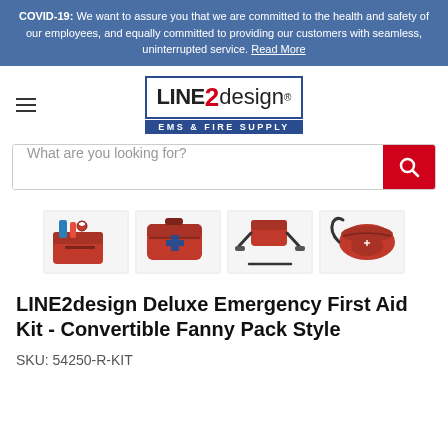COVID-19: We want to assure you that we are committed to the health and safety of our employees, and equally committed to providing our customers with seamless, uninterrupted service. Read More
[Figure (logo): LINE2design EMS & FIRE SUPPLY logo with hamburger menu icon]
[Figure (screenshot): Search bar with placeholder text 'What are you looking for?' and red search button]
[Figure (photo): Four product thumbnail images of red emergency first aid kit fanny packs shown from different angles]
LINE2design Deluxe Emergency First Aid Kit - Convertible Fanny Pack Style
SKU: 54250-R-KIT